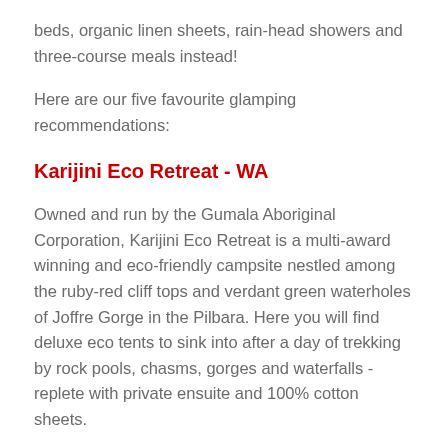beds, organic linen sheets, rain-head showers and three-course meals instead!
Here are our five favourite glamping recommendations:
Karijini Eco Retreat - WA
Owned and run by the Gumala Aboriginal Corporation, Karijini Eco Retreat is a multi-award winning and eco-friendly campsite nestled among the ruby-red cliff tops and verdant green waterholes of Joffre Gorge in the Pilbara. Here you will find deluxe eco tents to sink into after a day of trekking by rock pools, chasms, gorges and waterfalls - replete with private ensuite and 100% cotton sheets.
Nightfall Camp - QLD